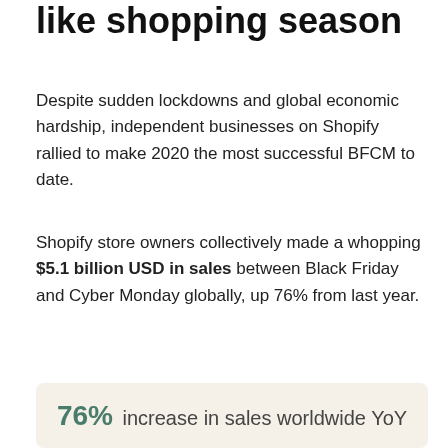like shopping season
Despite sudden lockdowns and global economic hardship, independent businesses on Shopify rallied to make 2020 the most successful BFCM to date.
Shopify store owners collectively made a whopping $5.1 billion USD in sales between Black Friday and Cyber Monday globally, up 76% from last year.
76% increase in sales worldwide YoY